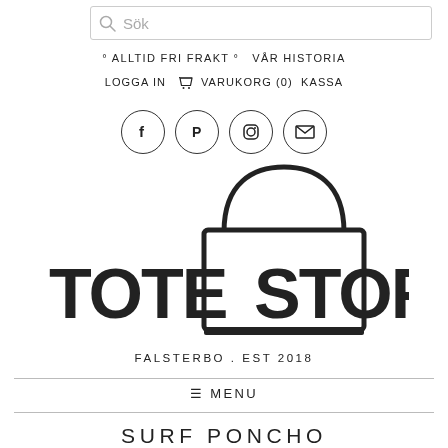Sök
° ALLTID FRI FRAKT °   VÅR HISTORIA
LOGGA IN   🛒 VARUKORG (0)   KASSA
[Figure (logo): Four social media icons in circles: Facebook, Pinterest, Instagram, Email]
[Figure (logo): Tote Stories logo — large stylized text TOTE STORIES with a tote bag illustration in the center, FALSTERBO . EST 2018 below]
FALSTERBO . EST 2018
≡ MENU
SURF PONCHO